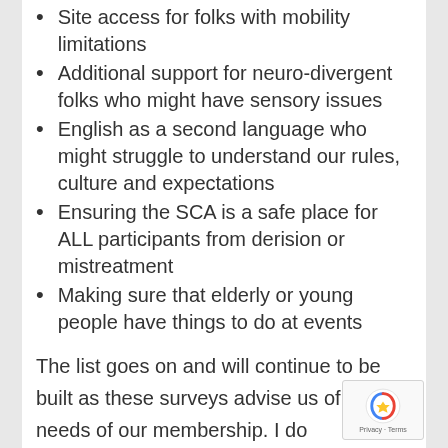Site access for folks with mobility limitations
Additional support for neuro-divergent folks who might have sensory issues
English as a second language who might struggle to understand our rules, culture and expectations
Ensuring the SCA is a safe place for ALL participants from derision or mistreatment
Making sure that elderly or young people have things to do at events
The list goes on and will continue to be built as these surveys advise us of the needs of our membership. I do